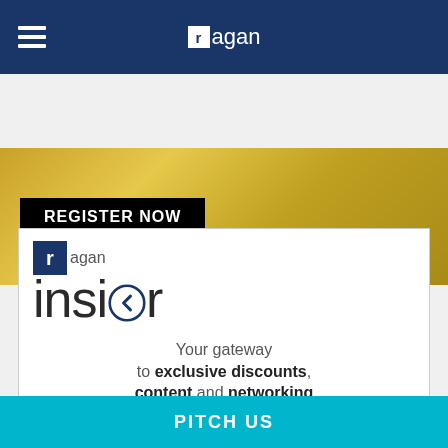Ragan
[Figure (illustration): Gold/yellow textured banner with a black 'REGISTER NOW' button]
[Figure (logo): Ragan Insider logo with blue square R and 'insider' text with arrow, and tagline: Your gateway to exclusive discounts, content and networking]
PITCH US